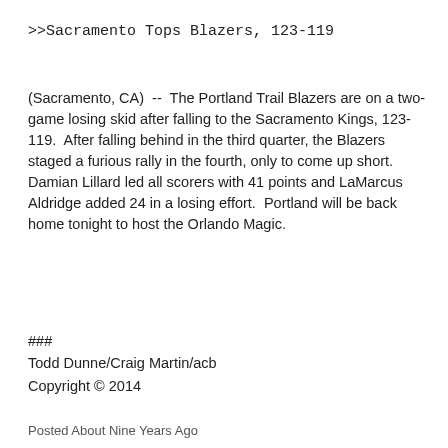>>Sacramento Tops Blazers, 123-119
(Sacramento, CA)  --  The Portland Trail Blazers are on a two-game losing skid after falling to the Sacramento Kings, 123-119.  After falling behind in the third quarter, the Blazers staged a furious rally in the fourth, only to come up short.  Damian Lillard led all scorers with 41 points and LaMarcus Aldridge added 24 in a losing effort.  Portland will be back home tonight to host the Orlando Magic.
###
Todd Dunne/Craig Martin/acb
Copyright © 2014
Posted About Nine Years Ago